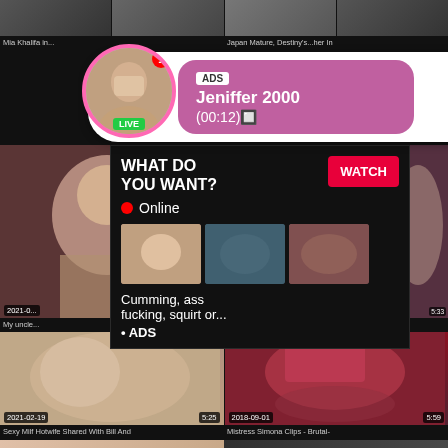[Figure (screenshot): Adult video website screenshot showing multiple video thumbnails with dates, durations, and an advertising overlay popup]
Mia Khalifa in...
Japan Mature, Destiny's...her In
[Figure (infographic): Ad bubble overlay showing profile photo with LIVE badge, notification badge, and pink banner reading: ADS / Jeniffer 2000 / (00:12)]
[Figure (infographic): WHAT DO YOU WANT? overlay with WATCH button, Online indicator with red dot, three mini thumbnails, text: Cumming, ass fucking, squirt or... • ADS]
My uncle...
5:33
2021-02-19
5:25
2018-09-01
5:59
Sexy Milf Hotwife Shared With Bill And
Mistress Simona Clips - Brutal-